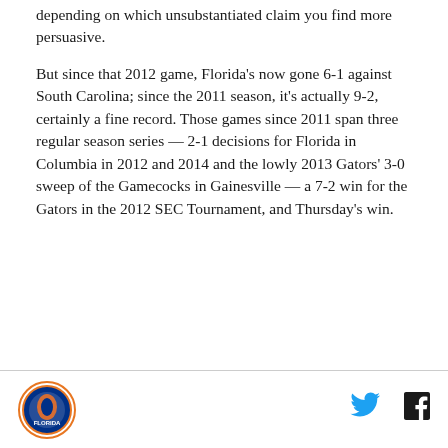depending on which unsubstantiated claim you find more persuasive.
But since that 2012 game, Florida's now gone 6-1 against South Carolina; since the 2011 season, it's actually 9-2, certainly a fine record. Those games since 2011 span three regular season series — 2-1 decisions for Florida in Columbia in 2012 and 2014 and the lowly 2013 Gators' 3-0 sweep of the Gamecocks in Gainesville — a 7-2 win for the Gators in the 2012 SEC Tournament, and Thursday's win.
[Figure (logo): Florida Gators circular logo with orange border]